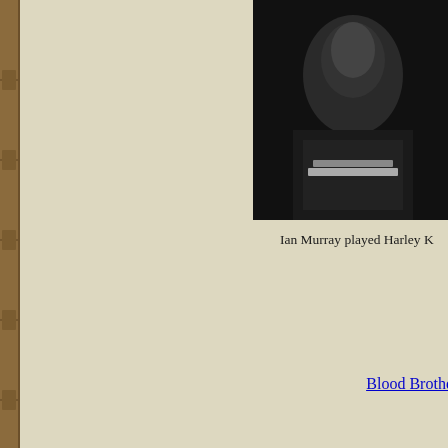[Figure (photo): Black and white photograph of a person in a dark uniform with white stripe/chevron detail, cropped at top right of page]
Ian Murray played Harley K
Blood Brothe